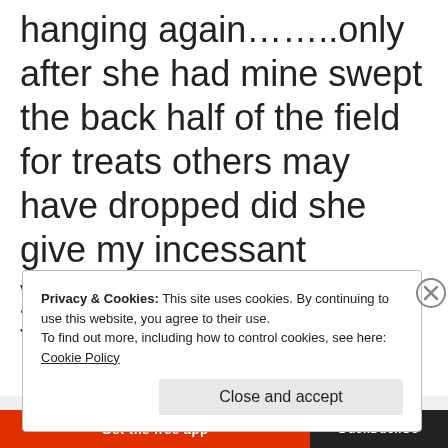hanging again……..only after she had mine swept the back half of the field for treats others may have dropped did she give my incessant yelling's any attention. In the end, it took a slight bending of the rules by me jumping up and down behind the tarp to see over and
Privacy & Cookies: This site uses cookies. By continuing to use this website, you agree to their use.
To find out more, including how to control cookies, see here: Cookie Policy
Close and accept
[Figure (screenshot): Bottom browser bar with a red section labeled 'Get the free app' and a dark section labeled 'DuckDuckGo']